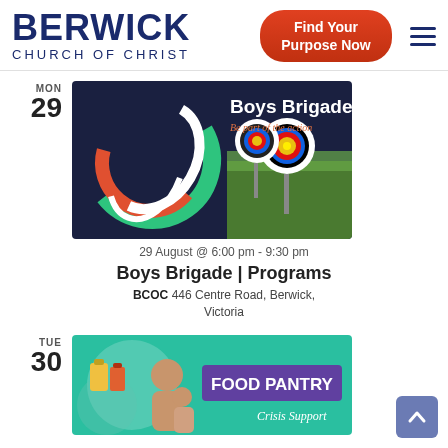BERWICK CHURCH OF CHRIST – Find Your Purpose Now
MON
29
[Figure (photo): Boys Brigade promotional banner with colorful swirl design and archery targets. Text reads 'Boys Brigade – Be part of the action']
29 August @ 6:00 pm - 9:30 pm
Boys Brigade | Programs
BCOC 446 Centre Road, Berwick, Victoria
TUE
30
[Figure (photo): Food Pantry – Crisis Support promotional image with teal background, woman holding child, canned goods, and purple text 'FOOD PANTRY']